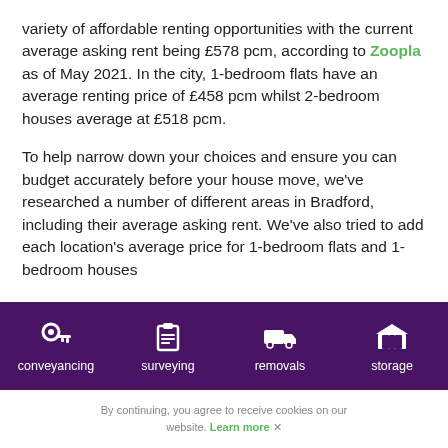variety of affordable renting opportunities with the current average asking rent being £578 pcm, according to Zoopla as of May 2021. In the city, 1-bedroom flats have an average renting price of £458 pcm whilst 2-bedroom houses average at £518 pcm.
To help narrow down your choices and ensure you can budget accurately before your house move, we've researched a number of different areas in Bradford, including their average asking rent. We've also tried to add each location's average price for 1-bedroom flats and 1-bedroom houses where available, to give you a means of comparison.
[Figure (infographic): Purple navigation bar with four white icons and labels: conveyancing (key icon), surveying (clipboard icon), removals (truck icon), storage (warehouse icon)]
By continuing, you agree to receive cookies on our website. Learn more ✕